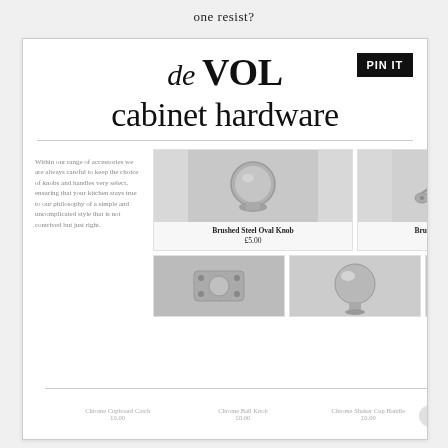one resist?
de VOL
cabinet hardware
Within our range of accessories we are always careful to keep the choice of knobs and handles very select, ensuring that your kitchen stays true to our philosophy of a simple and uncomplicated style that is not contrived but just right.
[Figure (photo): Brushed Steel Oval Knob - a round oval knob in brushed steel finish on white/marble background]
Brushed Steel Oval Knob
£5.00
[Figure (photo): Brushed Steel Cup Handle - a cup/bin pull handle in brushed steel finish on marble background]
Brushed Steel Cup Handle
£7.00
[Figure (photo): Chrome Cupboard Catch - a small chrome cupboard catch/latch on marble background]
Chrome Cupboard Catch
£0.00
[Figure (photo): Chrome Ball Knob - a spherical chrome ball knob on marble background]
Chrome Ball Knob
£0.00
[Figure (photo): Chrome Shaker Cup Handle - a chrome cup handle in shaker style on marble background]
Chrome Shaker Cup Handle
£0.00